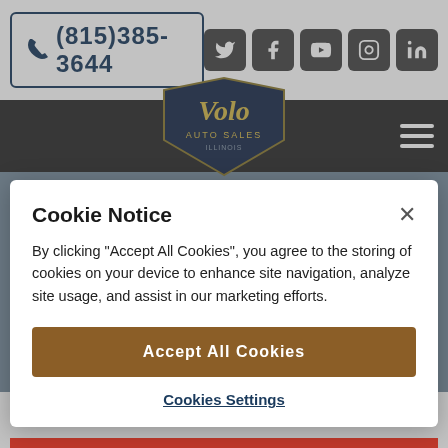(815)385-3644
[Figure (logo): Volo Auto Sales Illinois logo - shield shape with gold script lettering]
[Figure (screenshot): Volo Auto Sales website banner with large gold Volo script logo on grey background]
Cookie Notice
By clicking "Accept All Cookies", you agree to the storing of cookies on your device to enhance site navigation, analyze site usage, and assist in our marketing efforts.
Accept All Cookies
Cookies Settings